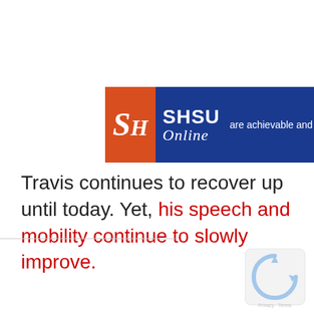[Figure (logo): SHSU Online banner logo on dark blue background. Orange square with 'SH' initials in italic serif font on left. 'SHSU' in bold white sans-serif and 'Online' in italic white script to the right. Tagline text partially visible: 'are achievable and affordable. Ap']
Travis continues to recover up until today. Yet, his speech and mobility continue to slowly improve.